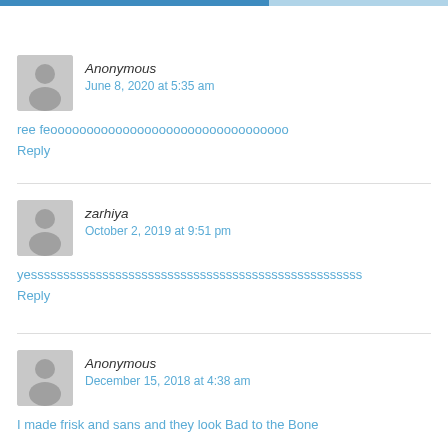Anonymous
June 8, 2020 at 5:35 am
ree feooooooooooooooooooooooooooooooooo
Reply
zarhiya
October 2, 2019 at 9:51 pm
yesssssssssssssssssssssssssssssssssssssssssssssssssss
Reply
Anonymous
December 15, 2018 at 4:38 am
I made frisk and sans and they look Bad to the Bone